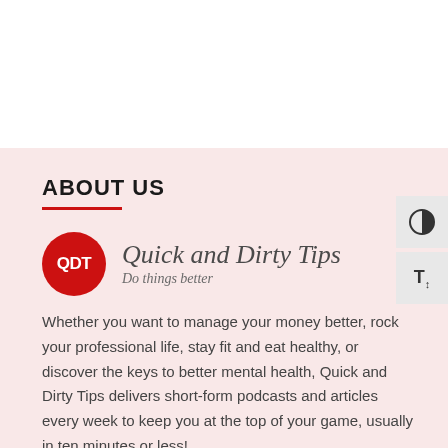ABOUT US
[Figure (logo): Quick and Dirty Tips logo — red circle with 'QDT' text in white, beside italic text 'Quick and Dirty Tips' and tagline 'Do things better']
Whether you want to manage your money better, rock your professional life, stay fit and eat healthy, or discover the keys to better mental health, Quick and Dirty Tips delivers short-form podcasts and articles every week to keep you at the top of your game, usually in ten minutes or less!